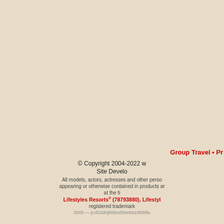[Figure (photo): Textured beige/tan background resembling aged paper or fabric]
Group Travel • Pr
© Copyright 2004-2022 w
Site Develo
All models, actors, actresses and other perso appearing or otherwise contained in products a at the ti
Lifestyles Resorts® (78793880), Lifestyl registered trademark
2009 — jco51ldnj669io556n0a18090lu